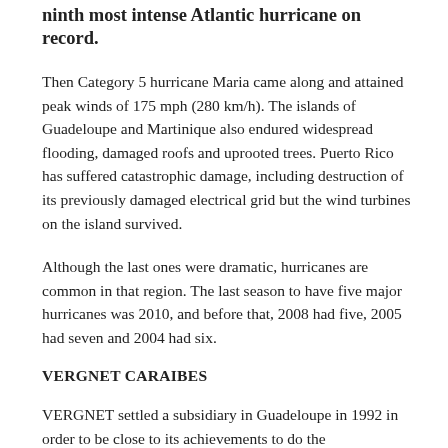ninth most intense Atlantic hurricane on record.
Then Category 5 hurricane Maria came along and attained peak winds of 175 mph (280 km/h). The islands of Guadeloupe and Martinique also endured widespread flooding, damaged roofs and uprooted trees. Puerto Rico has suffered catastrophic damage, including destruction of its previously damaged electrical grid but the wind turbines on the island survived.
Although the last ones were dramatic, hurricanes are common in that region. The last season to have five major hurricanes was 2010, and before that, 2008 had five, 2005 had seven and 2004 had six.
VERGNET CARAIBES
VERGNET settled a subsidiary in Guadeloupe in 1992 in order to be close to its achievements to do the